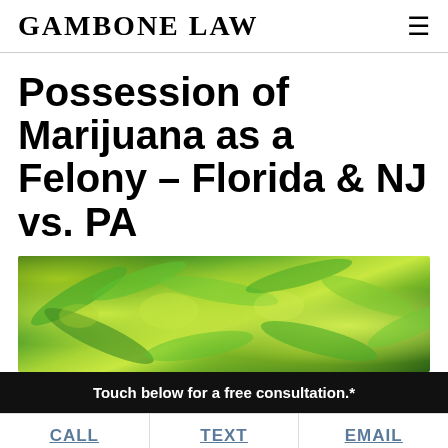Gambone Law
Possession of Marijuana as a Felony – Florida & NJ vs. PA
[Figure (photo): Close-up photo of green marijuana plant leaves]
Touch below for a free consultation.*
CALL   TEXT   EMAIL